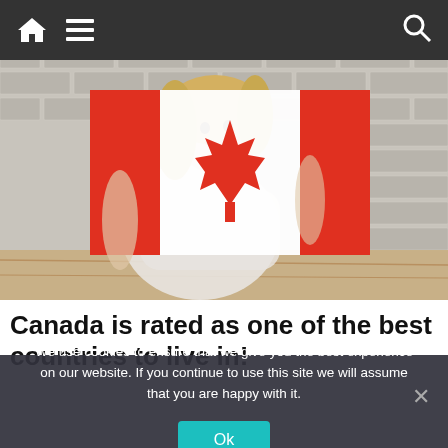Navigation bar with home icon, menu icon, and search icon
[Figure (photo): A smiling blonde woman holding up a Canadian flag (red and white with maple leaf) in front of a white brick wall background]
Canada is rated as one of the best countries to live in!
We use cookies to ensure that we give you the best experience on our website. If you continue to use this site we will assume that you are happy with it.